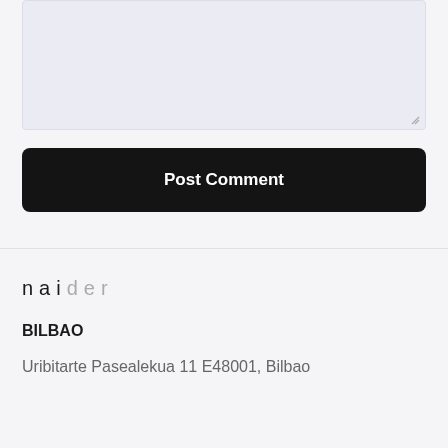[Figure (screenshot): A textarea input box with light lavender/grey background and a resize handle in the bottom-right corner]
Post Comment
[Figure (logo): naider logo in mixed black and grey lettering with wide letter spacing]
BILBAO
Uribitarte Pasealekua 11 E48001, Bilbao